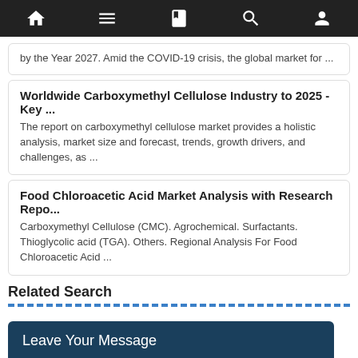Navigation bar with home, menu, book, search, and profile icons
by the Year 2027. Amid the COVID-19 crisis, the global market for ...
Worldwide Carboxymethyl Cellulose Industry to 2025 - Key ...
The report on carboxymethyl cellulose market provides a holistic analysis, market size and forecast, trends, growth drivers, and challenges, as ...
Food Chloroacetic Acid Market Analysis with Research Repo...
Carboxymethyl Cellulose (CMC). Agrochemical. Surfactants. Thioglycolic acid (TGA). Others. Regional Analysis For Food Chloroacetic Acid ...
Related Search
Leave Your Message
* Name